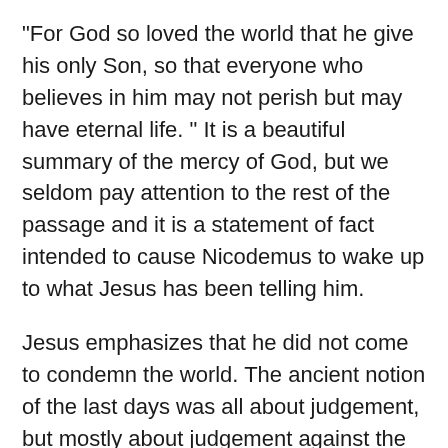“For God so loved the world that he give his only Son, so that everyone who believes in him may not perish but may have eternal life.”  It is a beautiful summary of the mercy of God, but we seldom pay attention to the rest of the passage and it is a statement of fact intended to cause Nicodemus to wake up to what Jesus has been telling him.
Jesus emphasizes that he did not come to condemn the world.  The ancient notion of the last days was all about judgement, but mostly about judgement against the other person.  The prophets often reminded folks that in the day of judgement everyone, including you, would be judged, so be careful what you wish for. Jesus states that we pronounce judgement on ourselves.  “Those who believe in him are not condemned; but those who do not believe are